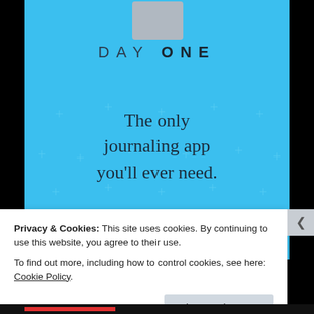[Figure (screenshot): Day One journaling app promotional screenshot on a blue background with scattered plus/star decorations, app icon at top, 'DAY ONE' text branding, and tagline 'The only journaling app you'll ever need.']
DAY ONE
The only journaling app you'll ever need.
Privacy & Cookies: This site uses cookies. By continuing to use this website, you agree to their use.
To find out more, including how to control cookies, see here: Cookie Policy
Close and accept